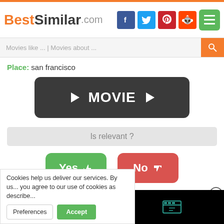BestSimilar.com
Movies like ... | Movies about ...
Place: san francisco
[Figure (screenshot): Dark rounded button with play arrows and text MOVIE]
Is relevant ?
[Figure (screenshot): Yes thumbs-up button (green) and No thumbs-down button (red)]
Rick and Morty (20...
[Figure (screenshot): Black video player overlay with teal chart icon]
Cookies help us deliver our services. By us... you agree to our use of cookies as describe...